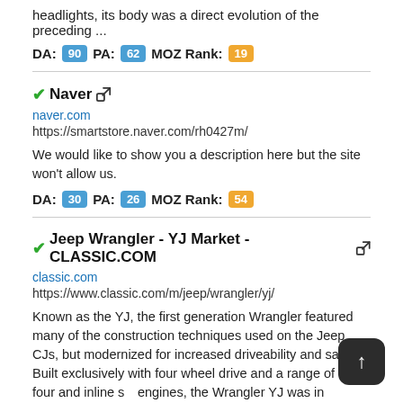headlights, its body was a direct evolution of the preceding ...
DA: 90 PA: 62 MOZ Rank: 19
Naver
naver.com
https://smartstore.naver.com/rh0427m/
We would like to show you a description here but the site won't allow us.
DA: 30 PA: 26 MOZ Rank: 54
Jeep Wrangler - YJ Market - CLASSIC.COM
classic.com
https://www.classic.com/m/jeep/wrangler/yj/
Known as the YJ, the first generation Wrangler featured many of the construction techniques used on the Jeep CJs, but modernized for increased driveability and safety. Built exclusively with four wheel drive and a range of inline four and inline six engines, the Wrangler YJ was in production until 1995, and replaced by the Jeep Wrangler TJ.